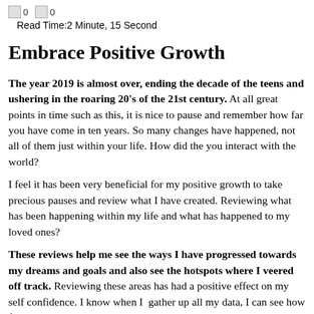0  0
Read Time:2 Minute, 15 Second
Embrace Positive Growth
The year 2019 is almost over, ending the decade of the teens and ushering in the roaring 20's of the 21st century. At all great points in time such as this, it is nice to pause and remember how far you have come in ten years. So many changes have happened, not all of them just within your life. How did the you interact with the world?
I feel it has been very beneficial for my positive growth to take precious pauses and review what I have created. Reviewing what has been happening within my life and what has happened to my loved ones?
These reviews help me see the ways I have progressed towards my dreams and goals and also see the hotspots where I veered off track. Reviewing these areas has had a positive effect on my self confidence. I know when I  gather up all my data, I can see how far I have come.